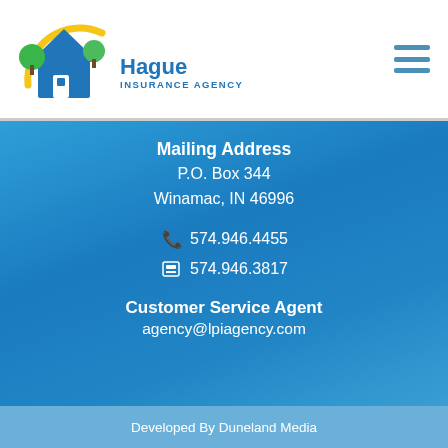[Figure (logo): Hague Insurance Agency logo: house with blue roof, green trees, yellow arc, text 'Hague INSURANCE AGENCY']
Mailing Address
P.O. Box 344
Winamac, IN 46996
574.946.4455
574.946.3817
Customer Service Agent
agency@lpiagency.com
Developed By Duneland Media